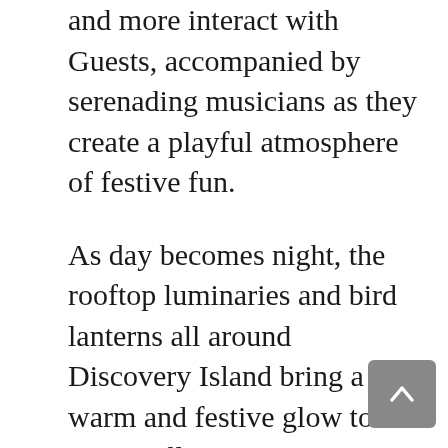and more interact with Guests, accompanied by serenading musicians as they create a playful atmosphere of festive fun.
As day becomes night, the rooftop luminaries and bird lanterns all around Discovery Island bring a warm and festive glow to the entire village.
At the center of everything, the Tree of Life awakens with a series of wintry tales, complemented by a familiar and heartwarming holiday-inspired musical